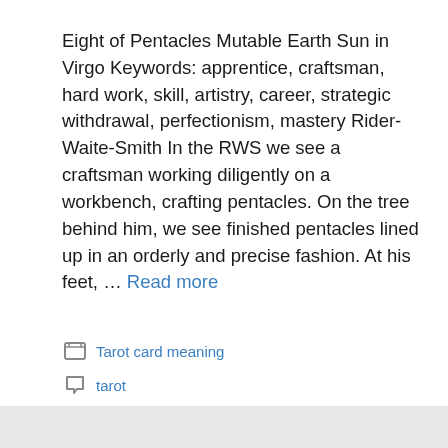Eight of Pentacles Mutable Earth Sun in Virgo Keywords: apprentice, craftsman, hard work, skill, artistry, career, strategic withdrawal, perfectionism, mastery Rider-Waite-Smith In the RWS we see a craftsman working diligently on a workbench, crafting pentacles. On the tree behind him, we see finished pentacles lined up in an orderly and precise fashion. At his feet, … Read more
Tarot card meaning
tarot
Leave a comment